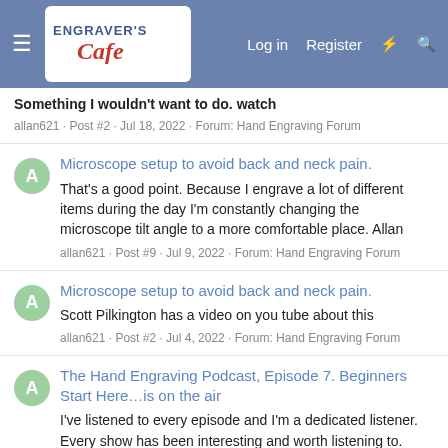Engraver's Cafe — Log in | Register
Something I wouldn't want to do. watch
allan621 · Post #2 · Jul 18, 2022 · Forum: Hand Engraving Forum
Microscope setup to avoid back and neck pain.
That's a good point. Because I engrave a lot of different items during the day I'm constantly changing the microscope tilt angle to a more comfortable place. Allan
allan621 · Post #9 · Jul 9, 2022 · Forum: Hand Engraving Forum
Microscope setup to avoid back and neck pain.
Scott Pilkington has a video on you tube about this
allan621 · Post #2 · Jul 4, 2022 · Forum: Hand Engraving Forum
The Hand Engraving Podcast, Episode 7. Beginners Start Here…is on the air
I've listened to every episode and I'm a dedicated listener. Every show has been interesting and worth listening to. Sam Alfano is